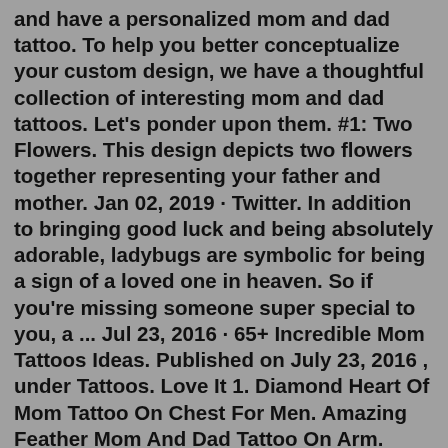and have a personalized mom and dad tattoo. To help you better conceptualize your custom design, we have a thoughtful collection of interesting mom and dad tattoos. Let's ponder upon them. #1: Two Flowers. This design depicts two flowers together representing your father and mother. Jan 02, 2019 · Twitter. In addition to bringing good luck and being absolutely adorable, ladybugs are symbolic for being a sign of a loved one in heaven. So if you're missing someone super special to you, a ... Jul 23, 2016 · 65+ Incredible Mom Tattoos Ideas. Published on July 23, 2016 , under Tattoos. Love It 1. Diamond Heart Of Mom Tattoo On Chest For Men. Amazing Feather Mom And Dad Tattoo On Arm. Anchor Mom Dad Anchor Tattoo. Anchor Mom Dad Tattoo. Apple Fruit With Mom Banner Tattoo. Attractive Heart Made Of Spool And Mom Banner Tattoo. 30 Mother-Daughter Tattoos That'll Inspire You to Get Matching Ink. Take your bond to the next level. By Celia Fernandez. Feb 5, 2020. Celia Fernandez Lifestyle Writer As the Lifestyle Writer at OprahMag.com, I cover beauty